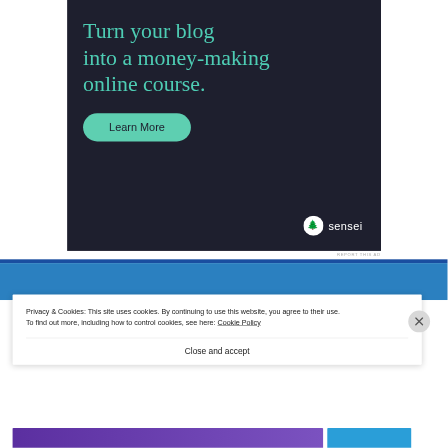[Figure (screenshot): Advertisement banner with dark navy background. Large teal/mint colored heading text reads 'Turn your blog into a money-making online course.' with a mint green rounded 'Learn More' button below it, and a Sensei logo (tree icon + 'sensei' wordmark) in the bottom right corner.]
REPORT THIS AD
Privacy & Cookies: This site uses cookies. By continuing to use this website, you agree to their use.
To find out more, including how to control cookies, see here: Cookie Policy
Close and accept